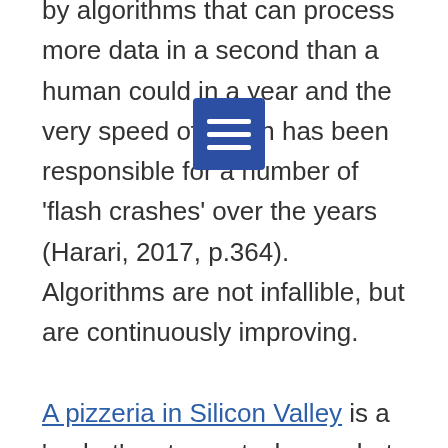by algorithms that can process more data in a second than a human could in a year and the very speed of action has been responsible for a number of 'flash crashes' over the years (Harari, 2017, p.364). Algorithms are not infallible, but are continuously improving.
A pizzeria in Silicon Valley is a 'co-bot' restaurant where robots help to prepare pizzas. Its owner expects that the restaurant will be fully automated within five years.